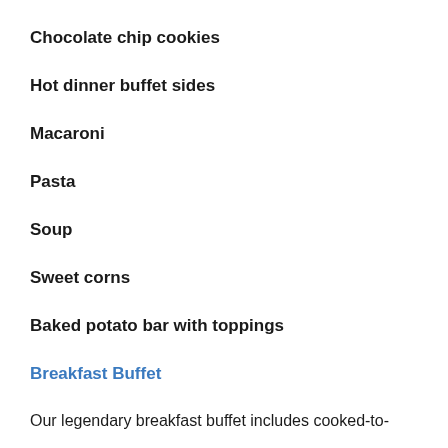Chocolate chip cookies
Hot dinner buffet sides
Macaroni
Pasta
Soup
Sweet corns
Baked potato bar with toppings
Breakfast Buffet
Our legendary breakfast buffet includes cooked-to-